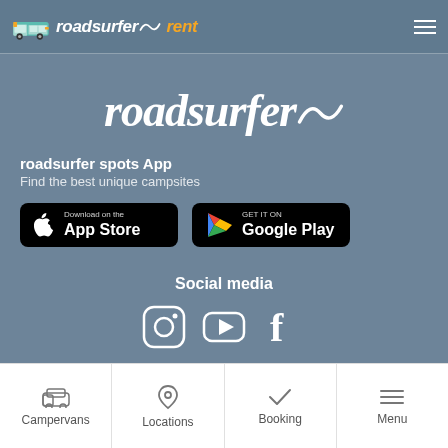roadsurfer rent
[Figure (logo): roadsurfer large italic white script logo text]
roadsurfer spots App
Find the best unique campsites
[Figure (screenshot): App Store download button (black rounded rectangle with Apple logo)]
[Figure (screenshot): Google Play GET IT ON button (black rounded rectangle with Play logo)]
Social media
[Figure (infographic): Social media icons: Instagram, YouTube, Facebook in white on slate background]
Campervans | Locations | Booking | Menu